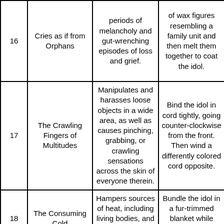| # | Name | Effect | Ritual |
| --- | --- | --- | --- |
| 16 | Cries as if from Orphans | periods of melancholy and gut-wrenching episodes of loss and grief. | of wax figures resembling a family unit and then melt them together to coat the idol. |
| 17 | The Crawling Fingers of Multitudes | Manipulates and harasses loose objects in a wide area, as well as causes pinching, grabbing, or crawling sensations across the skin of everyone therein. | Bind the idol in cord tightly, going counter-clockwise from the front. Then wind a differently colored cord opposite. |
| 18 | The Consuming Cold | Hampers sources of heat, including living bodies, and promotes unseasonable | Bundle the idol in a fur-trimmed blanket while ladling boiling hot broth over |